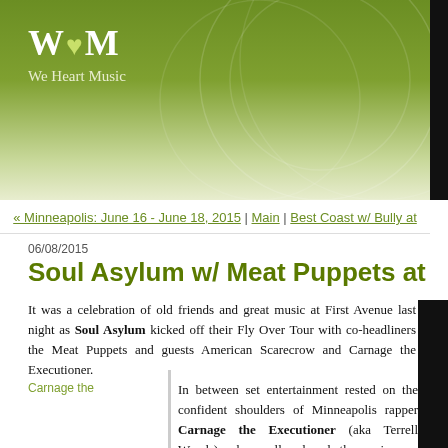W♥M We Heart Music
« Minneapolis: June 16 - June 18, 2015 | Main | Best Coast w/ Bully at
06/08/2015
Soul Asylum w/ Meat Puppets at First Ave, M
It was a celebration of old friends and great music at First Avenue last night as Soul Asylum kicked off their Fly Over Tour with co-headliners the Meat Puppets and guests American Scarecrow and Carnage the Executioner.
In between set entertainment rested on the confident shoulders of Minneapolis rapper Carnage the Executioner (aka Terrell Woods) who really slayed the mainroom crowd with his impressive beat-boxing and playful banter. “I’m the hip-hop element of the
Carnage the